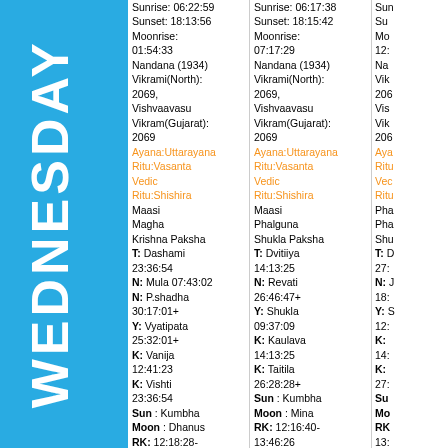WEDNESDAY
| Col1 | Col2 | Col3 |
| --- | --- | --- |
| Sunrise: 06:22:59 | Sunrise: 06:17:38 | Sun |
| Sunset: 18:13:56 | Sunset: 18:15:42 | Su |
| Moonrise: 01:54:33 | Moonrise: 07:17:29 | Mo 12: |
| Nandana (1934) | Nandana (1934) | Na |
| Vikrami(North): 2069, | Vikrami(North): 2069, | Vik 206 |
| Vishvaavasu Vikram(Gujarat): 2069 | Vishvaavasu Vikram(Gujarat): 2069 | Vis Vik 206 |
| Ayana:Uttarayana | Ayana:Uttarayana | Aya |
| Ritu:Vasanta | Ritu:Vasanta | Ritu |
| Vedic Ritu:Shishira | Vedic Ritu:Shishira | Vec Ritu |
| Maasi | Maasi | Pha |
| Magha | Phalguna | Pha |
| Krishna Paksha | Shukla Paksha | Shu |
| T: Dashami 23:36:54 | T: Dvitiiya 14:13:25 | T: D 27: |
| N: Mula 07:43:02 | N: Revati | N: J 18: |
| N: P.shadha 30:17:01+ | 26:46:47+ | Y: S 12: |
| Y: Vyatipata 25:32:01+ | Y: Shukla 09:37:09 | K: 14: |
| K: Vanija 12:41:23 | K: Kaulava 14:13:25 | K: 27: |
| K: Vishti 23:36:54 | K: Taitila 26:28:28+ | Su |
| Sun : Kumbha | Sun : Kumbha | Mo |
| Moon : Dhanus | Moon : Mina | RK 13: |
| RK: 12:18:28-13:47:20 | RK: 12:16:40-13:46:26 | YM 09: |
| YM: 07:51:51-09:20:43 | YM: 07:47:24-09:17:09 | GK 12: |
| GK: 10:49:36-12:18:28 | GK: 10:46:55-12:16:40 | AJ: |
| AJ: none | AJ: none | DM 12: |
| DM: 11:54:46-12:42:09 | DM: 11:52:44-12:40:36 | AK 08: |
| V: 16:44:38-18:14:54 | V: 14:18:45-15:58:29 | Su |
|  | AK: 24:17:10- |  |